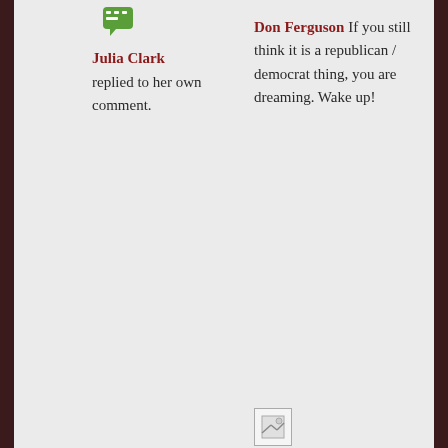[Figure (illustration): Green speech bubble / chat icon]
Julia Clark replied to her own comment.
Don Ferguson If you still think it is a republican / democrat thing, you are dreaming. Wake up!
[Figure (illustration): Green speech bubble / chat icon]
Julia Clark commented on Jason Spence's post.
Looking for robust place to post, somewhere can give testament and hear testament in a responsible working way? Join https://www.facebook.com/groups/Occupy
[Figure (illustration): Small thumbnail image at bottom]